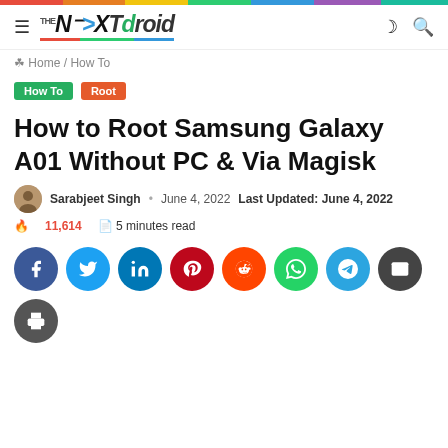TheNextDroid — Navigation header with logo and icons
Home / How To
How To  Root
How to Root Samsung Galaxy A01 Without PC & Via Magisk
Sarabjeet Singh · June 4, 2022  Last Updated: June 4, 2022
🔥 11,614  📋 5 minutes read
[Figure (other): Row of social share buttons: Facebook, Twitter, LinkedIn, Pinterest, Reddit, WhatsApp, Telegram, Email, Print]